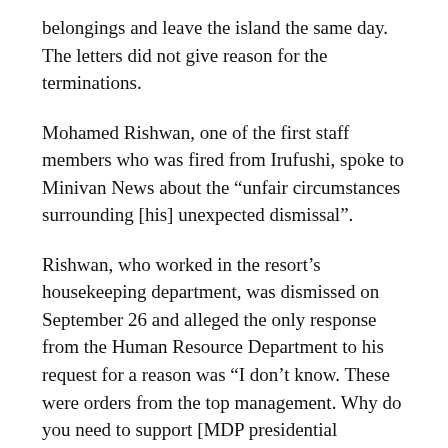belongings and leave the island the same day. The letters did not give reason for the terminations.
Mohamed Rishwan, one of the first staff members who was fired from Irufushi, spoke to Minivan News about the “unfair circumstances surrounding [his] unexpected dismissal”.
Rishwan, who worked in the resort’s housekeeping department, was dismissed on September 26 and alleged the only response from the Human Resource Department to his request for a reason was “I don’t know. These were orders from the top management. Why do you need to support [MDP presidential candidate] Mohamed Nasheed?”.
“Our work and politics have been absolutely entangled by the current management. Staff at the resort are living in a constant state of fear of losing